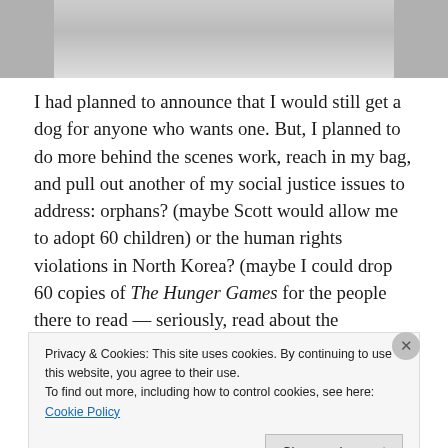[Figure (photo): Partial photo at top of page, cropped showing a person]
I had planned to announce that I would still get a dog for anyone who wants one. But, I planned to do more behind the scenes work, reach in my bag, and pull out another of my social justice issues to address: orphans? (maybe Scott would allow me to adopt 60 children) or the human rights violations in North Korea? (maybe I could drop 60 copies of The Hunger Games for the people there to read — seriously, read about the censorship in NK).
Privacy & Cookies: This site uses cookies. By continuing to use this website, you agree to their use.
To find out more, including how to control cookies, see here: Cookie Policy
Close and accept